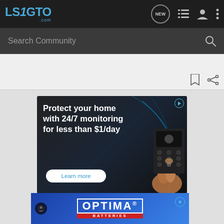LS1GTO.com navigation bar with logo, NEW chat, list, user, and menu icons
Search Community
[Figure (screenshot): Bookmark and share icons on right side]
[Figure (infographic): Ad: Protect your home with 24/7 monitoring for less than $1/day — Learn more button, security device keypad image]
[Figure (infographic): Ad: Optima Batteries — blue background with Optima logo and Batteries text in red banner]